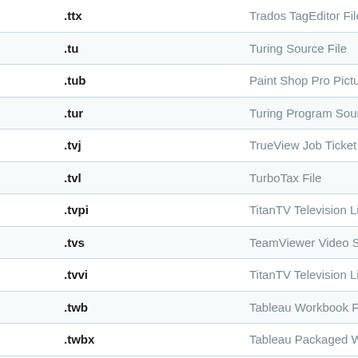| Extension | Description |
| --- | --- |
| .ttx | Trados TagEditor File |
| .tu | Turing Source File |
| .tub | Paint Shop Pro Picture |
| .tur | Turing Program Source |
| .tvj | TrueView Job Ticket |
| .tvl | TurboTax File |
| .tvpi | TitanTV Television Listi… |
| .tvs | TeamViewer Video Sess… |
| .tvvi | TitanTV Television Listi… |
| .twb | Tableau Workbook File |
| .twbx | Tableau Packaged Wor… |
| .twc | TTWin Configuration Fi… |
| .twt | Carmageddon 2 Data F… |